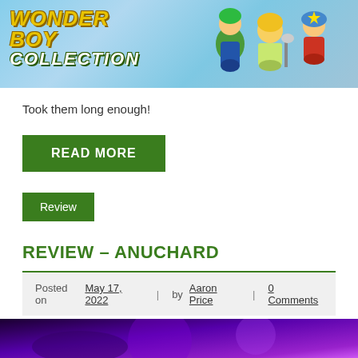[Figure (illustration): Wonder Boy Collection banner image showing animated characters and the game title logo on a sky background]
Took them long enough!
READ MORE
Review
REVIEW – ANUCHARD
Posted on May 17, 2022 | by Aaron Price | 0 Comments
[Figure (screenshot): Partial screenshot of Anuchard game at the bottom of the page]